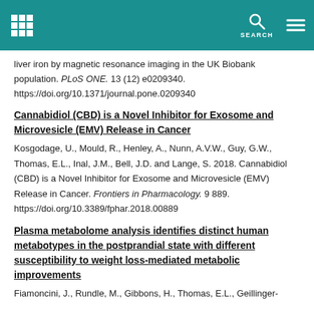Header bar with grid icon, search icon, and menu icon
liver iron by magnetic resonance imaging in the UK Biobank population. PLoS ONE. 13 (12) e0209340. https://doi.org/10.1371/journal.pone.0209340
Cannabidiol (CBD) is a Novel Inhibitor for Exosome and Microvesicle (EMV) Release in Cancer
Kosgodage, U., Mould, R., Henley, A., Nunn, A.V.W., Guy, G.W., Thomas, E.L., Inal, J.M., Bell, J.D. and Lange, S. 2018. Cannabidiol (CBD) is a Novel Inhibitor for Exosome and Microvesicle (EMV) Release in Cancer. Frontiers in Pharmacology. 9 889. https://doi.org/10.3389/fphar.2018.00889
Plasma metabolome analysis identifies distinct human metabotypes in the postprandial state with different susceptibility to weight loss-mediated metabolic improvements
Fiamoncini, J., Rundle, M., Gibbons, H., Thomas, E.L., Geillinger-